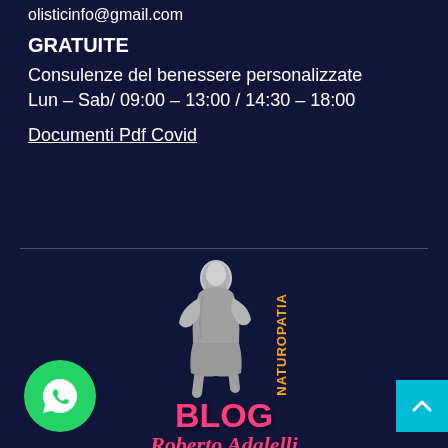olisticinfo@gmail.com
GRATUITE
Consulenze del benessere personalizzate
Lun – Sab/ 09:00 – 13:00 / 14:30 – 18:00
Documenti Pdf Covid
[Figure (logo): Blog Naturopatia logo featuring The Thinker statue with BLOG text in pink and NATUROPATIA in vertical gold text, and Roberto Adalelli in pink italic script below]